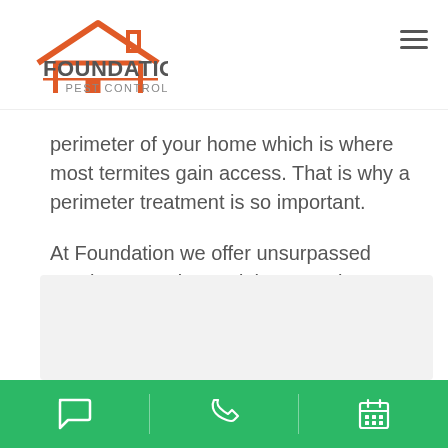Foundation Pest Control
perimeter of your home which is where most termites gain access. That is why a perimeter treatment is so important.
At Foundation we offer unsurpassed termite protection and the expertise to back it up.
[Figure (other): Gray placeholder box at bottom of page]
Green footer bar with chat, phone, and calendar icons